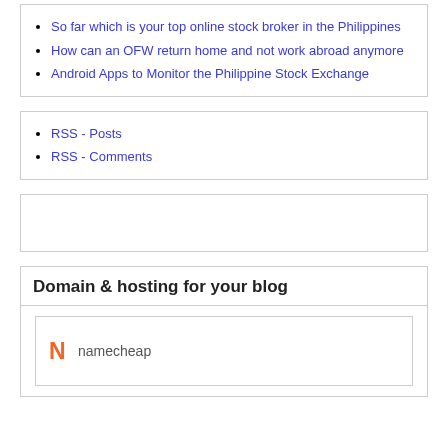So far which is your top online stock broker in the Philippines
How can an OFW return home and not work abroad anymore
Android Apps to Monitor the Philippine Stock Exchange
RSS - Posts
RSS - Comments
Domain & hosting for your blog
[Figure (logo): Namecheap logo with orange N icon and namecheap wordmark]